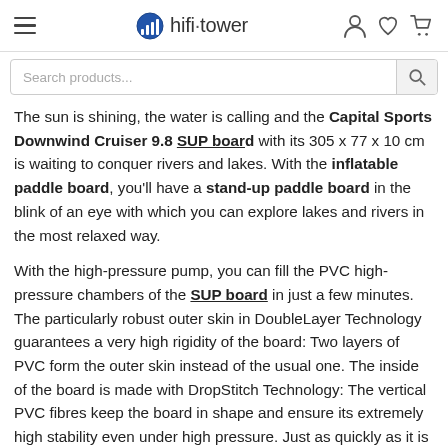hifi·tower — hamburger menu, logo, account/wishlist/cart icons
Search products...
The sun is shining, the water is calling and the Capital Sports Downwind Cruiser 9.8 SUP board with its 305 x 77 x 10 cm is waiting to conquer rivers and lakes. With the inflatable paddle board, you'll have a stand-up paddle board in the blink of an eye with which you can explore lakes and rivers in the most relaxed way.
With the high-pressure pump, you can fill the PVC high-pressure chambers of the SUP board in just a few minutes. The particularly robust outer skin in DoubleLayer Technology guarantees a very high rigidity of the board: Two layers of PVC form the outer skin instead of the usual one. The inside of the board is made with DropStitch Technology: The vertical PVC fibres keep the board in shape and ensure its extremely high stability even under high pressure. Just as quickly as it is inflated, the Downwind Cruiser 9.8 is...